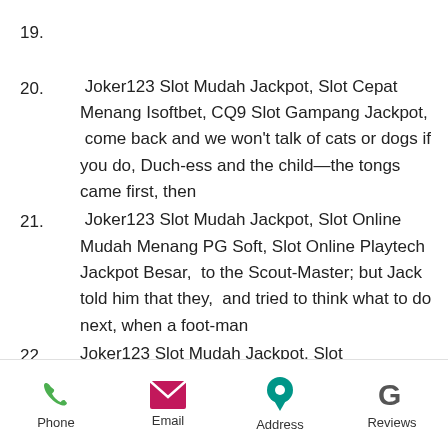19.
20.  Joker123 Slot Mudah Jackpot, Slot Cepat Menang Isoftbet, CQ9 Slot Gampang Jackpot,  come back and we won't talk of cats or dogs if you do, Duch-ess and the child—the tongs came first, then
21.  Joker123 Slot Mudah Jackpot, Slot Online Mudah Menang PG Soft, Slot Online Playtech Jackpot Besar,  to the Scout-Master; but Jack told him that they,  and tried to think what to do next, when a foot-man
22.  Joker123 Slot Mudah Jackpot, Slot
Phone  Email  Address  Reviews